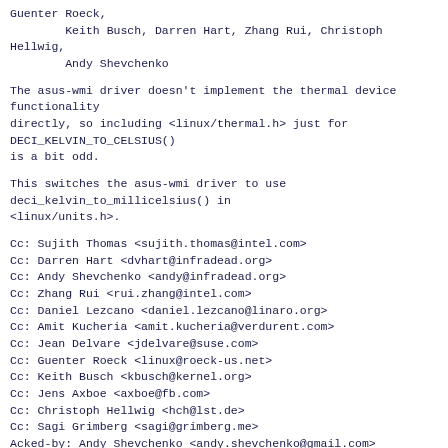Guenter Roeck,
        Keith Busch, Darren Hart, Zhang Rui, Christoph Hellwig,
        Andy Shevchenko
The asus-wmi driver doesn't implement the thermal device functionality
directly, so including <linux/thermal.h> just for DECI_KELVIN_TO_CELSIUS()
is a bit odd.
This switches the asus-wmi driver to use
deci_kelvin_to_millicelsius() in
<linux/units.h>.
Cc: Sujith Thomas <sujith.thomas@intel.com>
Cc: Darren Hart <dvhart@infradead.org>
Cc: Andy Shevchenko <andy@infradead.org>
Cc: Zhang Rui <rui.zhang@intel.com>
Cc: Daniel Lezcano <daniel.lezcano@linaro.org>
Cc: Amit Kucheria <amit.kucheria@verdurent.com>
Cc: Jean Delvare <jdelvare@suse.com>
Cc: Guenter Roeck <linux@roeck-us.net>
Cc: Keith Busch <kbusch@kernel.org>
Cc: Jens Axboe <axboe@fb.com>
Cc: Christoph Hellwig <hch@lst.de>
Cc: Sagi Grimberg <sagi@grimberg.me>
Acked-by: Andy Shevchenko <andy.shevchenko@gmail.com>
Signed-off-by: Akinobu Mita <akinobu.mita@gmail.com>
---
* v2